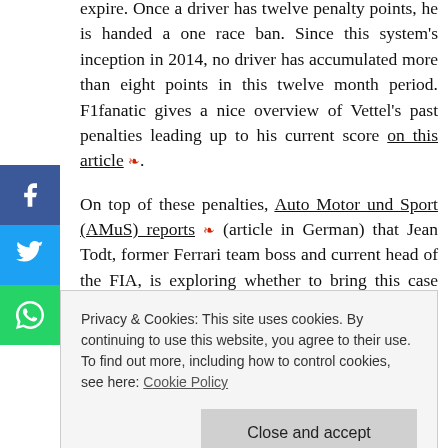expire. Once a driver has twelve penalty points, he is handed a one race ban. Since this system's inception in 2014, no driver has accumulated more than eight points in this twelve month period. F1fanatic gives a nice overview of Vettel's past penalties leading up to his current score on this article.
On top of these penalties, Auto Motor und Sport (AMuS) reports (article in German) that Jean Todt, former Ferrari team boss and current head of the FIA, is exploring whether to bring this case before a special court, the Court of Arbitration for Sport (CAS) in Lausanne, Switzerland. This court is
Privacy & Cookies: This site uses cookies. By continuing to use this website, you agree to their use. To find out more, including how to control cookies, see here: Cookie Policy
Close and accept
for the incident.